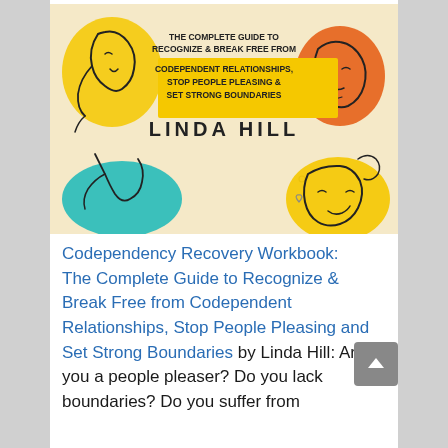[Figure (illustration): Book cover for 'Codependency Recovery Workbook' by Linda Hill. Cream/beige background with colorful abstract line-art faces: yellow face on left, orange face on upper right, teal blob with figure lower left, yellow face lower right. Center top has text: 'THE COMPLETE GUIDE TO RECOGNIZE & BREAK FREE FROM CODEPENDENT RELATIONSHIPS, STOP PEOPLE PLEASING & SET STRONG BOUNDARIES' with highlighted yellow background on last three lines. Author name 'LINDA HILL' in large bold letters in center.]
Codependency Recovery Workbook: The Complete Guide to Recognize & Break Free from Codependent Relationships, Stop People Pleasing and Set Strong Boundaries by Linda Hill: Are you a people pleaser? Do you lack boundaries? Do you suffer from codependency? This is the complete...